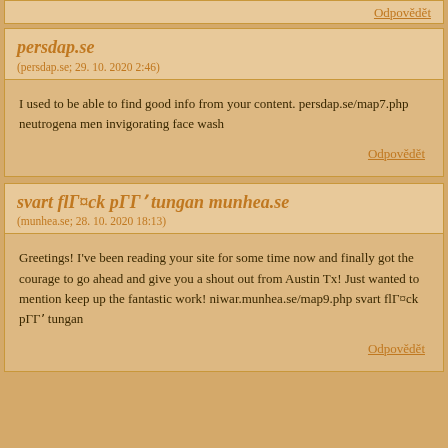Odpovědět
persdap.se
(persdap.se; 29. 10. 2020 2:46)
I used to be able to find good info from your content. persdap.se/map7.php neutrogena men invigorating face wash
Odpovědět
svart flГ¤ck pГГ' tungan munhea.se
(munhea.se; 28. 10. 2020 18:13)
Greetings! I've been reading your site for some time now and finally got the courage to go ahead and give you a shout out from Austin Tx! Just wanted to mention keep up the fantastic work! niwar.munhea.se/map9.php svart flГ¤ck pГГ' tungan
Odpovědět